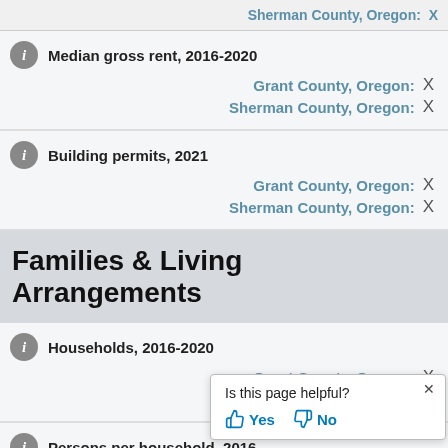Sherman County, Oregon:  X
Median gross rent, 2016-2020
Grant County, Oregon:  X
Sherman County, Oregon:  X
Building permits, 2021
Grant County, Oregon:  X
Sherman County, Oregon:  X
Families & Living Arrangements
Households, 2016-2020
Grant County, Oregon:  X
Sherman County, Oregon:  X
Persons per household, 2016-
Grant
Is this page helpful?  Yes  No